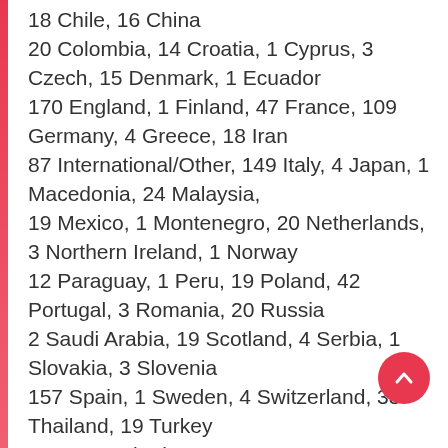18 Chile, 16 China
20 Colombia, 14 Croatia, 1 Cyprus, 3 Czech, 15 Denmark, 1 Ecuador
170 England, 1 Finland, 47 France, 109 Germany, 4 Greece, 18 Iran
87 International/Other, 149 Italy, 4 Japan, 1 Macedonia, 24 Malaysia,
19 Mexico, 1 Montenegro, 20 Netherlands, 3 Northern Ireland, 1 Norway
12 Paraguay, 1 Peru, 19 Poland, 42 Portugal, 3 Romania, 20 Russia
2 Saudi Arabia, 19 Scotland, 4 Serbia, 1 Slovakia, 3 Slovenia
157 Spain, 1 Sweden, 4 Switzerland, 33 Thailand, 19 Turkey
1 UAE, 2 Ukraine, 16 Uruguay, 1 USA, 1 Venezuela, 5 Wales
Total = 1250
Link : Download